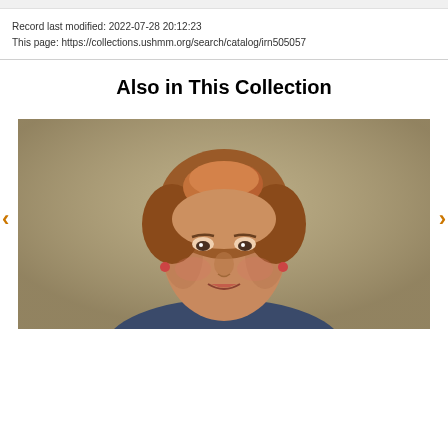Record last modified: 2022-07-28 20:12:23
This page: https://collections.ushmm.org/search/catalog/irn505057
Also in This Collection
[Figure (photo): A woman with short reddish-brown hair, wearing a white collar, photographed from the shoulders up against a neutral tan/olive background.]